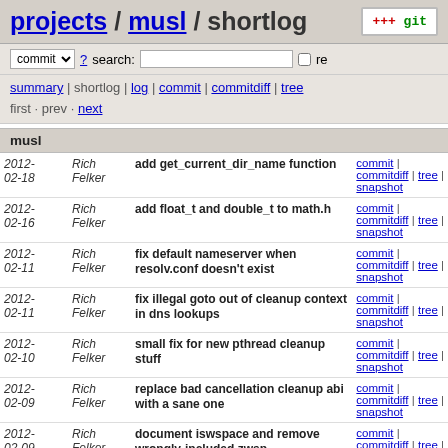projects / musl / shortlog
commit ? search: re
summary | shortlog | log | commit | commitdiff | tree
first · prev · next
musl
| Date | Author | Message | Links |
| --- | --- | --- | --- |
| 2012-02-18 | Rich Felker | add get_current_dir_name function | commit | commitdiff | tree | snapshot |
| 2012-02-16 | Rich Felker | add float_t and double_t to math.h | commit | commitdiff | tree | snapshot |
| 2012-02-11 | Rich Felker | fix default nameserver when resolv.conf doesn't exist | commit | commitdiff | tree | snapshot |
| 2012-02-11 | Rich Felker | fix illegal goto out of cleanup context in dns lookups | commit | commitdiff | tree | snapshot |
| 2012-02-10 | Rich Felker | small fix for new pthread cleanup stuff | commit | commitdiff | tree | snapshot |
| 2012-02-09 | Rich Felker | replace bad cancellation cleanup abi with a sane one | commit | commitdiff | tree | snapshot |
| 2012-02-09 | Rich Felker | document iswspace and remove wrongly-included zwsp... | commit | commitdiff | tree | snapshot |
| 2012-02-09 | Rich Felker | fix typo in iswspace space list table | commit | commitdiff | tree | snapshot |
| 2012-02-09 | Rich Felker | fix typo in inotify.h | commit | commitdiff | tree |